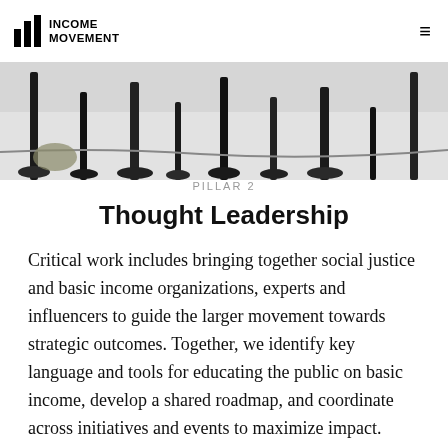INCOME MOVEMENT
[Figure (photo): Cropped photo showing the lower legs and feet of people seated around a table, with chair legs and cables visible on a light floor]
PILLAR 2
Thought Leadership
Critical work includes bringing together social justice and basic income organizations, experts and influencers to guide the larger movement towards strategic outcomes. Together, we identify key language and tools for educating the public on basic income, develop a shared roadmap, and coordinate across initiatives and events to maximize impact.